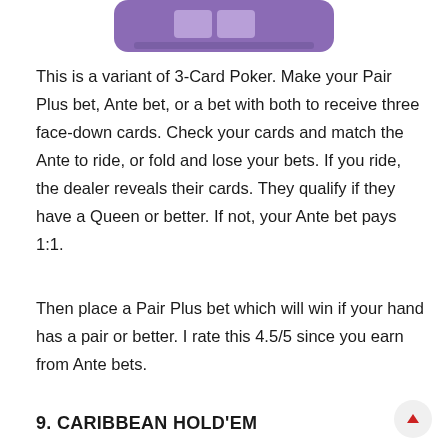[Figure (illustration): Purple rounded rectangle UI element with lighter rectangular areas inside, resembling a card table or game interface at the top of the page]
This is a variant of 3-Card Poker. Make your Pair Plus bet, Ante bet, or a bet with both to receive three face-down cards. Check your cards and match the Ante to ride, or fold and lose your bets. If you ride, the dealer reveals their cards. They qualify if they have a Queen or better. If not, your Ante bet pays 1:1.
Then place a Pair Plus bet which will win if your hand has a pair or better. I rate this 4.5/5 since you earn from Ante bets.
9. CARIBBEAN HOLD'EM